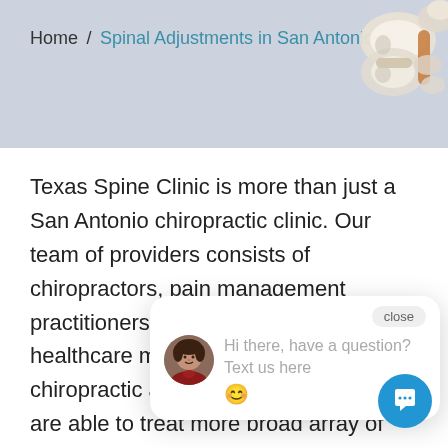Home / Spinal Adjustments in San Antonio
[Figure (illustration): 3D rendered spine/vertebrae illustration in top-right corner of header banner]
Texas Spine Clinic is more than just a San Antonio chiropractic clinic. Our team of providers consists of chiropractors, pain management practitioners to help patients live healthcare model of combining chiropractic and pain management, we are able to treat more broad array of injuries and conditions. Sometimes your condition might require
close
Hi there, have a question? Text us here ☺